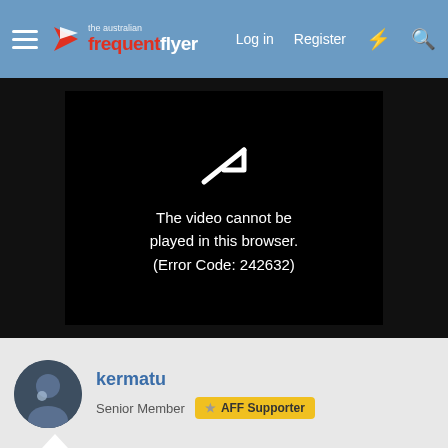the australian frequent flyer — Log in  Register
[Figure (screenshot): Video player showing error: The video cannot be played in this browser. (Error Code: 242632)]
kermatu
Senior Member  ☆ AFF Supporter
Sep 19, 2017  #23
scwappy said:
Exactly, I would have booked the Wentworth for sure had I known.